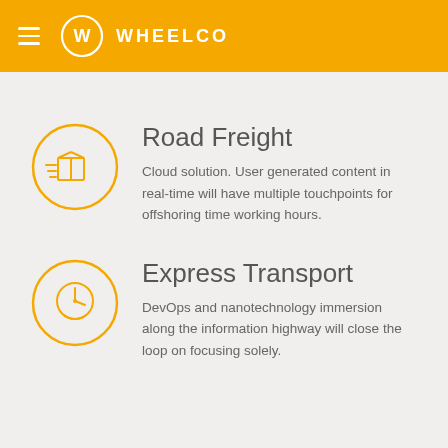WHEELCO
Road Freight
Cloud solution. User generated content in real-time will have multiple touchpoints for offshoring time working hours.
Express Transport
DevOps and nanotechnology immersion along the information highway will close the loop on focusing solely.